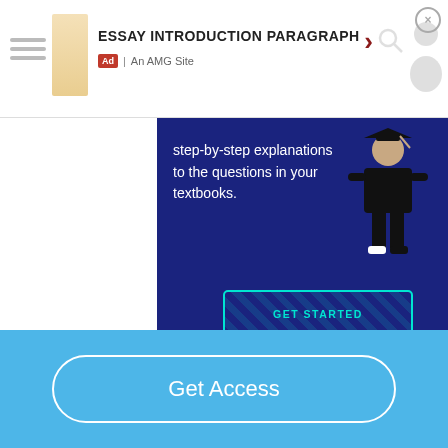ESSAY INTRODUCTION PARAGRAPH | Ad | An AMG Site
[Figure (screenshot): Advertisement banner with dark navy blue background showing step-by-step explanations to the questions in your textbooks with GET STARTED button and a graduation figure on the right]
Get Access